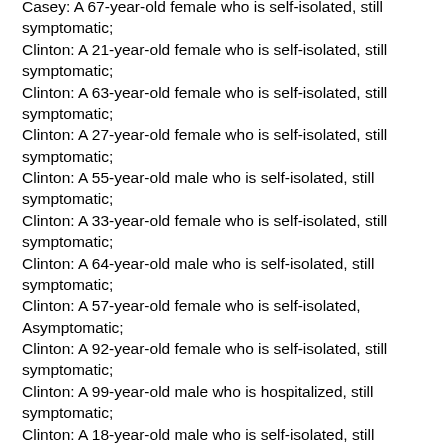Casey: A 67-year-old female who is self-isolated, still symptomatic;
Clinton: A 21-year-old female who is self-isolated, still symptomatic;
Clinton: A 63-year-old female who is self-isolated, still symptomatic;
Clinton: A 27-year-old female who is self-isolated, still symptomatic;
Clinton: A 55-year-old male who is self-isolated, still symptomatic;
Clinton: A 33-year-old female who is self-isolated, still symptomatic;
Clinton: A 64-year-old male who is self-isolated, still symptomatic;
Clinton: A 57-year-old female who is self-isolated, Asymptomatic;
Clinton: A 92-year-old female who is self-isolated, still symptomatic;
Clinton: A 99-year-old male who is hospitalized, still symptomatic;
Clinton: A 18-year-old male who is self-isolated, still